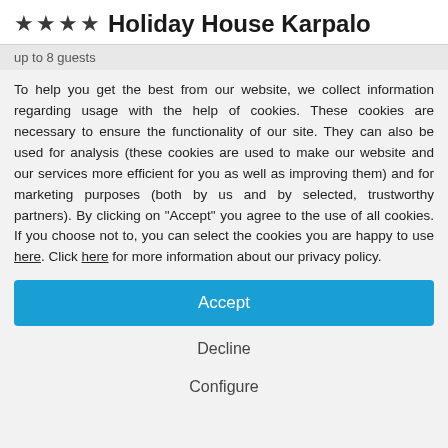★★★★ Holiday House Karpalo
up to 8 guests
To help you get the best from our website, we collect information regarding usage with the help of cookies. These cookies are necessary to ensure the functionality of our site. They can also be used for analysis (these cookies are used to make our website and our services more efficient for you as well as improving them) and for marketing purposes (both by us and by selected, trustworthy partners). By clicking on "Accept" you agree to the use of all cookies. If you choose not to, you can select the cookies you are happy to use here. Click here for more information about our privacy policy.
Accept
Decline
Configure